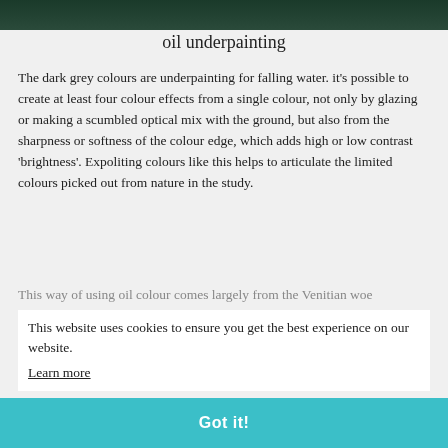[Figure (photo): Dark green/teal painting strip at top of page showing underpainting texture]
oil underpainting
The dark grey colours are underpainting for falling water. it's possible to create at least four colour effects from a single colour, not only by glazing or making a scumbled optical mix with the ground, but also from the sharpness or softness of the colour edge, which adds high or low contrast 'brightness'. Expoliting colours like this helps to articulate the limited colours picked out from nature in the study.
This way of using oil colour comes largely from the Venitian wo... the Academies in... use of this, many arti... abandoned them by the mid Twentieth century. Nevertheless, these techniques offer great reprentational and aesthetic force and remain a major resource of oil painting.
This website uses cookies to ensure you get the best experience on our website.
Learn more
Got it!